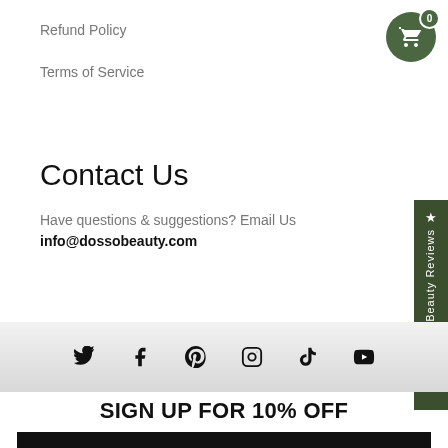Refund Policy
Terms of Service
Contact Us
Have questions & suggestions? Email Us
info@dossobeauty.com
[Figure (infographic): Social media icons row: Twitter, Facebook, Pinterest, Instagram, TikTok, YouTube]
SIGN UP FOR 10% OFF
SIGN ME UP!